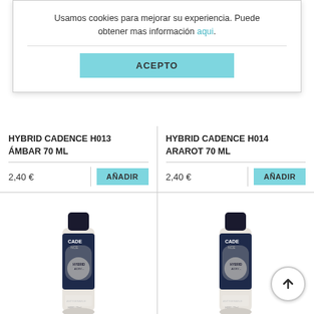Usamos cookies para mejorar su experiencia. Puede obtener mas información aqui.
ACEPTO
HYBRID CADENCE H013 ÁMBAR 70 ML
2,40 €
AÑADIR
HYBRID CADENCE H014 ARAROT 70 ML
2,40 €
AÑADIR
[Figure (photo): Small bottle of Cadence Hybrid acrylic paint, dark navy label]
[Figure (photo): Small bottle of Cadence Hybrid acrylic paint, dark navy label]
HYBRID CADENCE H065 GRIS
HYBRID CADENCE H066